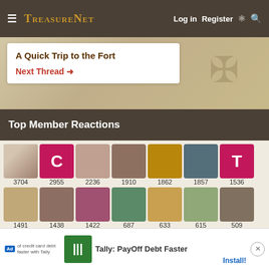TreasureNet  Log in  Register
A Quick Trip to the Fort
Next Thread →
Top Member Reactions
[Figure (other): Grid of member avatar images with reaction counts: 3704, 2955, 2236, 1910, 1862, 1857, 1536, 1491, 1438, 1422, 687, 633, 615, 509, 487, 469, 461, 460, 414, 387]
Ad  Tally: PayOff Debt Faster  Install!